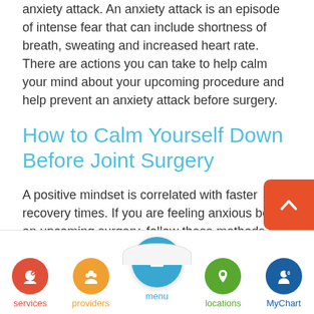anxiety attack. An anxiety attack is an episode of intense fear that can include shortness of breath, sweating and increased heart rate. There are actions you can take to help calm your mind about your upcoming procedure and help prevent an anxiety attack before surgery.
How to Calm Yourself Down Before Joint Surgery
A positive mindset is correlated with faster recovery times. If you are feeling anxious before an upcoming surgery, follow these methods to help relieve feelings of worry or anxiety.
[Figure (infographic): Mobile app bottom navigation bar with five items: services (red icon), providers (orange icon), menu (teal circle raised above bar), locations (green icon), MyChart (dark blue icon)]